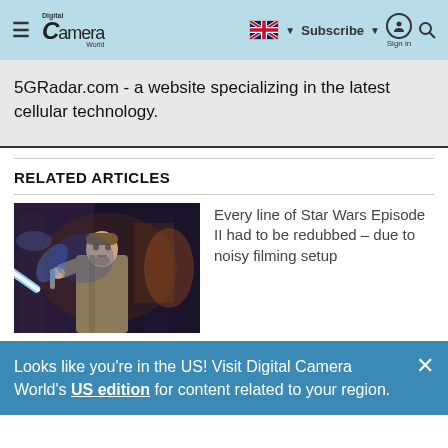Digital Camera World — Navigation bar with hamburger menu, logo, UK flag, Subscribe, Sign in, Search
5GRadar.com - a website specializing in the latest cellular technology.
RELATED ARTICLES
[Figure (photo): A man holding a glowing blue lightsaber, wearing robes, in a dark scene — still from Star Wars Episode II]
Every line of Star Wars Episode II had to be redubbed – due to noisy filming setup
Looks like you're in the US! Visit Digital Camera World's US edition for content related to your region.